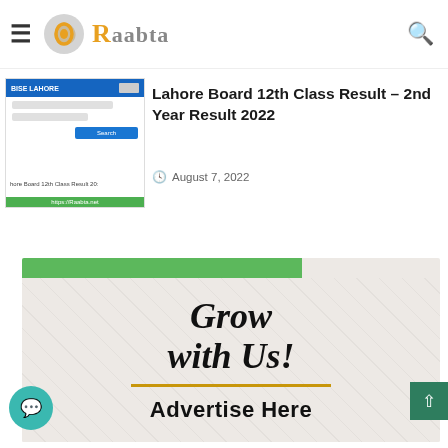[Figure (screenshot): Raabta website header with hamburger menu, logo, and search icon]
[Figure (screenshot): Partially visible article thumbnail at top of page for 12th Class Result All Punjab Boards]
12th Class Result All Punjab Boards
[Figure (screenshot): BISE Lahore 12th class result entry thumbnail image]
Lahore Board 12th Class Result – 2nd Year Result 2022
August 7, 2022
[Figure (infographic): Advertisement banner with green bar, 'Grow with Us!' text, gold underline, and 'Advertise Here' text on textured background]